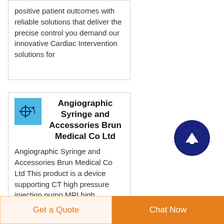positive patient outcomes with reliable solutions that deliver the precise control you demand our innovative Cardiac Intervention solutions for
Angiographic Syringe and Accessories Brun Medical Co Ltd
Angiographic Syringe and Accessories Brun Medical Co Ltd This product is a device supporting CT high pressure injection pump MRI high
[Figure (logo): Small blue square logo with syringe/medical icon]
Get a Quote
Chat Now